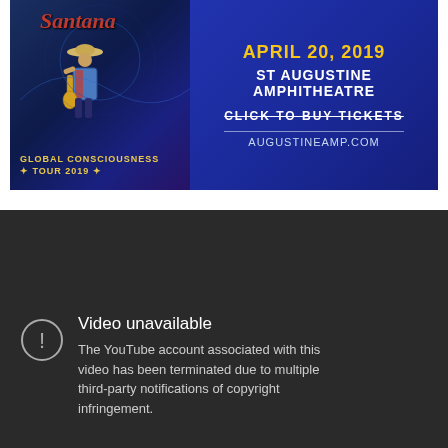[Figure (illustration): Santana Global Consciousness Tour 2019 advertisement banner. Dark blue/purple psychedelic background with guitarist figure. Right side shows event details: APRIL 20, 2019 / ST AUGUSTINE AMPHITHEATRE / CLICK TO BUY TICKETS / AUGUSTINEAMP.COM / GLOBAL CONSCIOUSNESS TOUR 2019]
[Figure (screenshot): YouTube video unavailable error screen. Dark gray background. Warning icon circle with exclamation mark. Text: 'Video unavailable' and 'The YouTube account associated with this video has been terminated due to multiple third-party notifications of copyright infringement.']